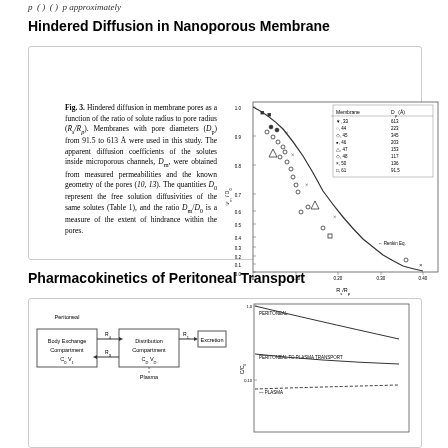p ( ) ( ) p approximately
Hindered Diffusion in Nanoporous Membrane
[Figure (scatter-plot): Scatter plot with fitted curve showing Dm/D0 vs Rs/Rp for various membranes with pore diameters from 91.5 to 613 Angstroms. Different symbols represent different membranes. A decreasing curve labeled 'Renkin Eq.' is shown.]
Fig. 3. Hindered diffusion in membrane pores as a function of the ratio of solute radius to pore radius (Rs/Rp). Membranes with pore diameters (Dp) from 91.5 to 613 Å were used in this study. The apparent diffusion coefficients of the solutes inside microporous channels, Dm, were obtained from measured permeabilities and the known geometry of the pores (10, 13). The quantities D0 represent the free solution diffusivities of the same solutes (Table 1), and the ratio Dm/D0 is a measure of the extent of hindrance within the pores.
Pharmacokinetics of Peritoneal Transport
[Figure (flowchart): Pharmacokinetic model diagram showing Body Exchange Compartment (C0, V1) connected via R4 and R3 to Distribution Compartment (CD, VD) connected via R1 to Excretion, with Plasma connection. Right side shows a line graph of C/C0 vs time with curves for Peritoneal, Peritoneal to Plasma Transport, and Plasma.]